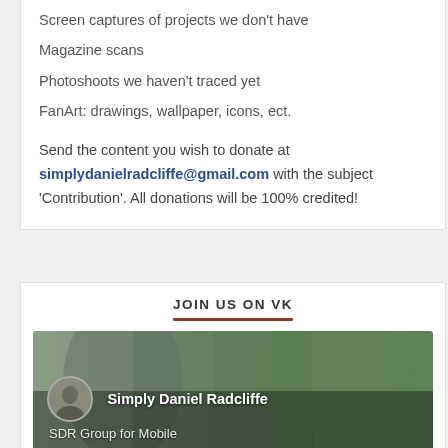Screen captures of projects we don't have
Magazine scans
Photoshoots we haven't traced yet
FanArt: drawings, wallpaper, icons, ect.
Send the content you wish to donate at simplydanielradcliffe@gmail.com with the subject 'Contribution'. All donations will be 100% credited!
JOIN US ON VK
[Figure (screenshot): VK social network group card showing 'Simply Daniel Radcliffe' group with a photo of Daniel Radcliffe, SDR Group for Mobile subtitle, 39 members]
39 members